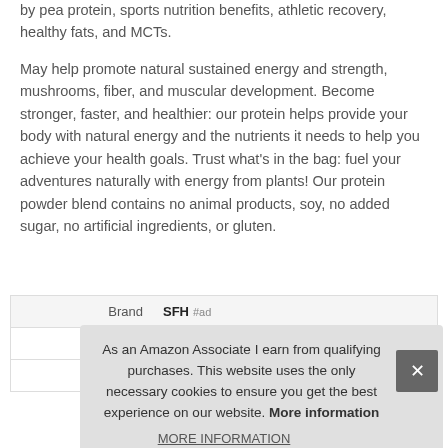by pea protein, sports nutrition benefits, athletic recovery, healthy fats, and MCTs.
May help promote natural sustained energy and strength, mushrooms, fiber, and muscular development. Become stronger, faster, and healthier: our protein helps provide your body with natural energy and the nutrients it needs to help you achieve your health goals. Trust what's in the bag: fuel your adventures naturally with energy from plants! Our protein powder blend contains no animal products, soy, no added sugar, no artificial ingredients, or gluten.
|  |  |
| --- | --- |
| Brand | SFH #ad |
| Ma |  |
| P |  |
As an Amazon Associate I earn from qualifying purchases. This website uses the only necessary cookies to ensure you get the best experience on our website. More information